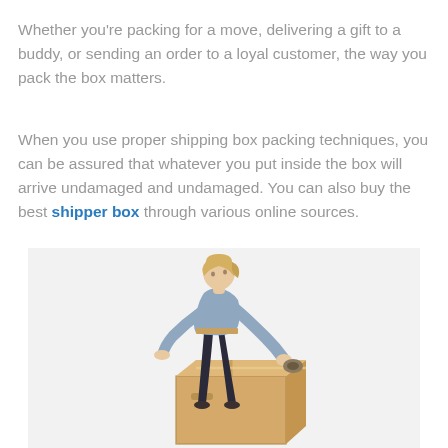Whether you're packing for a move, delivering a gift to a buddy, or sending an order to a loyal customer, the way you pack the box matters.
When you use proper shipping box packing techniques, you can be assured that whatever you put inside the box will arrive undamaged and undamaged. You can also buy the best shipper box through various online sources.
[Figure (photo): A woman leaning over a cardboard shipping box, using a tape dispenser to seal it. White/light gray background.]